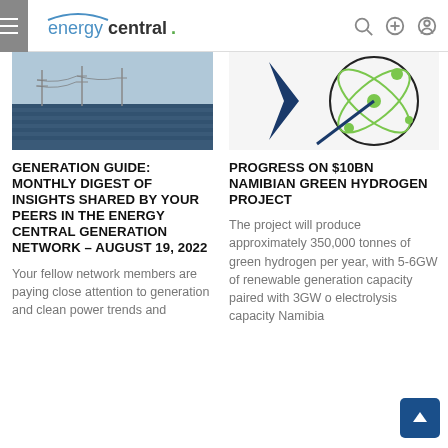energycentral.
[Figure (photo): Solar farm with power lines in background, wide flat landscape]
GENERATION GUIDE: MONTHLY DIGEST OF INSIGHTS SHARED BY YOUR PEERS IN THE ENERGY CENTRAL GENERATION NETWORK – AUGUST 19, 2022
Your fellow network members are paying close attention to generation and clean power trends and
[Figure (illustration): Green hydrogen atom / orbital diagram illustration with dark blue arrow pointer]
PROGRESS ON $10BN NAMIBIAN GREEN HYDROGEN PROJECT
The project will produce approximately 350,000 tonnes of green hydrogen per year, with 5-6GW of renewable generation capacity paired with 3GW of electrolysis capacity Namibia